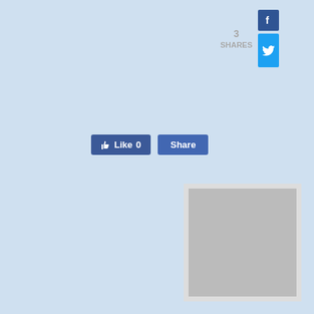[Figure (screenshot): Social share count showing '3 SHARES' with Facebook and Twitter icons]
[Figure (screenshot): Facebook Like button showing '0' and Share button]
[Figure (other): Gray placeholder advertisement box with white border]
Discou